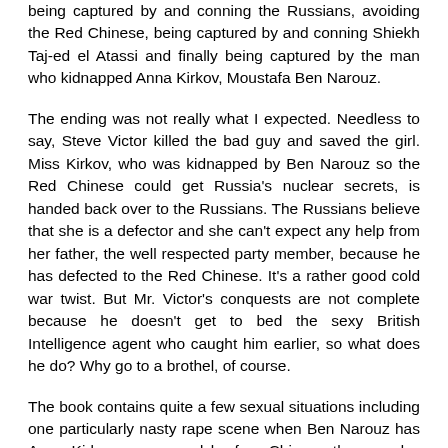being captured by and conning the Russians, avoiding the Red Chinese, being captured by and conning Shiekh Taj-ed el Atassi and finally being captured by the man who kidnapped Anna Kirkov, Moustafa Ben Narouz.
The ending was not really what I expected. Needless to say, Steve Victor killed the bad guy and saved the girl. Miss Kirkov, who was kidnapped by Ben Narouz so the Red Chinese could get Russia's nuclear secrets, is handed back over to the Russians. The Russians believe that she is a defector and she can't expect any help from her father, the well respected party member, because he has defected to the Red Chinese. It's a rather good cold war twist. But Mr. Victor's conquests are not complete because he doesn't get to bed the sexy British Intelligence agent who caught him earlier, so what does he do? Why go to a brothel, of course.
The book contains quite a few sexual situations including one particularly nasty rape scene when Ben Narouz has Anna Kirkov gang raped by four Chinese thugs and a dog in his attempt to convince a woman to give herself to him freely. I found that scene quite distasteful, to say the least. Some of Steve's candid encounters are written in a way to appear